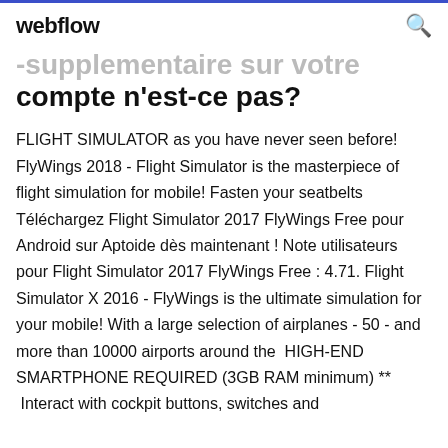webflow
supplementaire sur votre compte n'est-ce pas?
FLIGHT SIMULATOR as you have never seen before! FlyWings 2018 - Flight Simulator is the masterpiece of flight simulation for mobile! Fasten your seatbelts  Téléchargez Flight Simulator 2017 FlyWings Free pour Android sur Aptoide dès maintenant ! Note utilisateurs pour Flight Simulator 2017 FlyWings Free : 4.71. Flight Simulator X 2016 - FlyWings is the ultimate simulation for your mobile! With a large selection of airplanes - 50 - and more than 10000 airports around the  HIGH-END SMARTPHONE REQUIRED (3GB RAM minimum) **  Interact with cockpit buttons, switches and